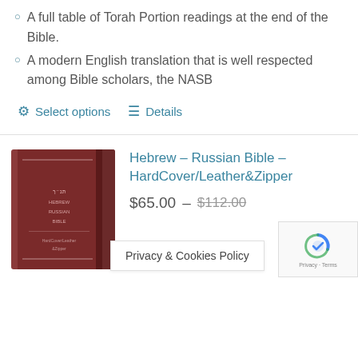A full table of Torah Portion readings at the end of the Bible.
A modern English translation that is well respected among Bible scholars, the NASB
Select options   Details
[Figure (photo): Book cover photo of Hebrew-Russian Bible with HardCover/Leather&Zipper, dark red/maroon color]
Hebrew – Russian Bible – HardCover/Leather&Zipper
$65.00 – $112.00
Privacy & Cookies Policy